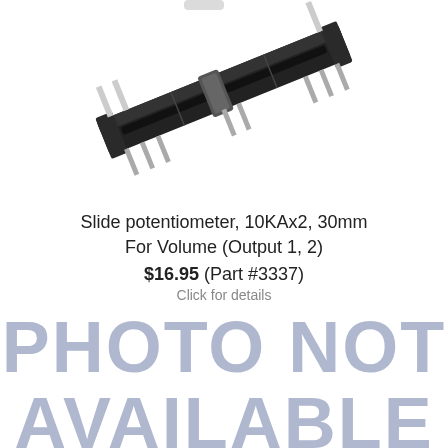[Figure (photo): Photo of a slide potentiometer component, black plastic body with metal pins, viewed at an angle from above. Partially cropped at the top.]
Slide potentiometer, 10KAx2, 30mm
For Volume (Output 1, 2)
$16.95 (Part #3337)
Click for details
PHOTO NOT AVAILABLE